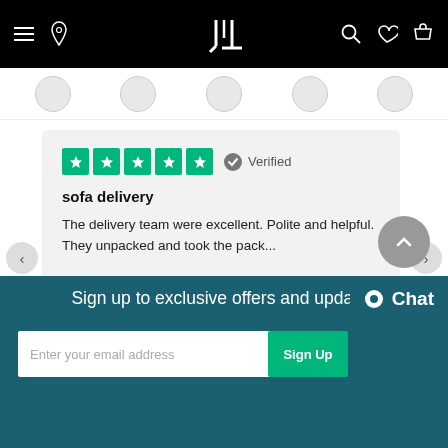JL - navigation bar with hamburger menu, phone, search, wishlist, cart icons
[Figure (screenshot): Category icon circles strip]
★★★★★ Verified

sofa delivery

The delivery team were excellent. Polite and helpful. They unpacked and took the pack...

Jill Walters, 47 minutes ago
Rated 4.6 / 5 based on 4,390 reviews. Showing our 5 star reviews.
[Figure (logo): Trustpilot logo with green star]
Sign up to exclusive offers and updates
Enter your email address
Sign Up
Chat